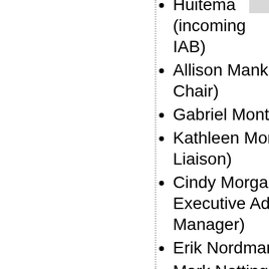Huittema (incoming IAB)
Allison Mankin (IRTF Chair)
Gabriel Montenegro
Kathleen Moriarty (IESG Liaison)
Cindy Morgan (IAB Executive Administrative Manager)
Erik Nordmark
Mark Nottingham
Robert Sparks
Jeff